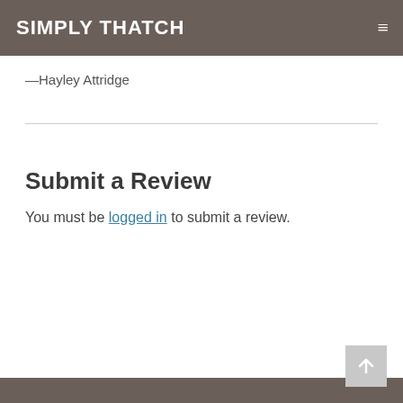SIMPLY THATCH
—Hayley Attridge
Submit a Review
You must be logged in to submit a review.